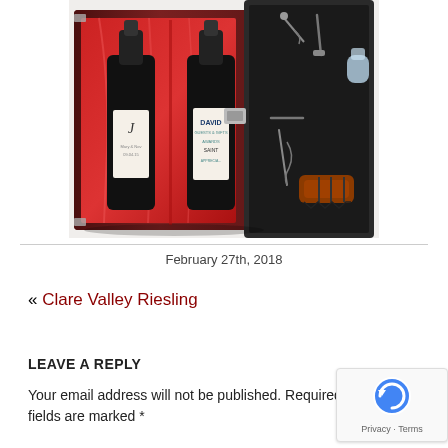[Figure (photo): Open wooden wine gift box with red satin interior holding two wine bottles with personalized labels (one with 'J' monogram, one with 'DAVID' label), and wine accessories including corkscrew and bottle opener on black velvet side panel.]
February 27th, 2018
« Clare Valley Riesling
LEAVE A REPLY
Your email address will not be published. Required fields are marked *